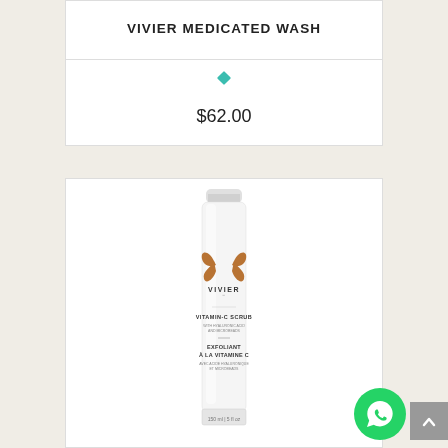VIVIER MEDICATED WASH
$62.00
[Figure (photo): Vivier Vitamin C Scrub product tube (white squeeze tube, 150ml / 5 fl oz) with gold butterfly Vivier logo, bilingual label in English and French]
[Figure (other): WhatsApp contact button (green circle with phone icon)]
[Figure (other): Scroll to top button (grey square with upward arrow)]